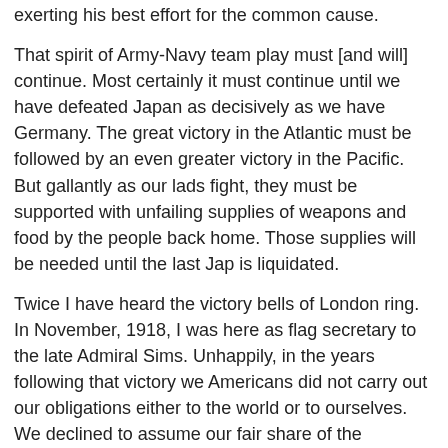exerting his best effort for the common cause.
That spirit of Army-Navy team play must [and will] continue. Most certainly it must continue until we have defeated Japan as decisively as we have Germany. The great victory in the Atlantic must be followed by an even greater victory in the Pacific. But gallantly as our lads fight, they must be supported with unfailing supplies of weapons and food by the people back home. Those supplies will be needed until the last Jap is liquidated.
Twice I have heard the victory bells of London ring. In November, 1918, I was here as flag secretary to the late Admiral Sims. Unhappily, in the years following that victory we Americans did not carry out our obligations either to the world or to ourselves. We declined to assume our fair share of the responsibility of maintaining peace in the world, and we short-sightedly reduced our Army and Navy almost to the vanishing point.
This time, let us pray, we shall be more far-sighted. This time let us make sure that never, neither in my life-time nor in yours, will our sons have to fight and die in a horrible, global conflict. We have won a great victory. Let us know again forget its lessons.
Nations that want peace must be stronger than those that want war.